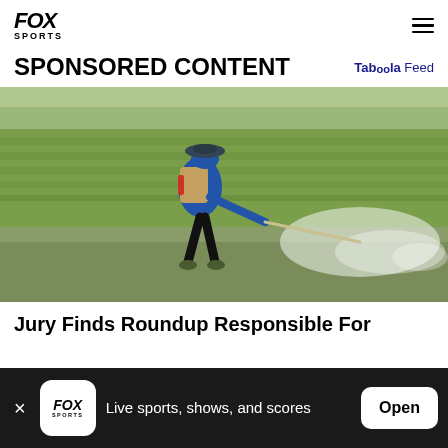FOX SPORTS
SPONSORED CONTENT
[Figure (photo): A farmer wearing a wide-brimmed hat and blue long-sleeve shirt, carrying a large pesticide sprayer tank on his back, spraying herbicide across a green rice paddy field with a long wand, mist spraying outward to the right]
Jury Finds Roundup Responsible For
Live sports, shows, and scores
Open